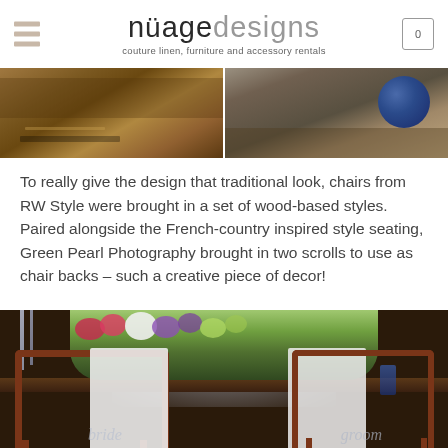nuagedesigns — couture linen, furniture and accessory rentals
[Figure (photo): Two close-up photos side by side: left shows a wooden tray with items on a table surface; right shows a dark blue/navy round plate or object on a wooden surface.]
To really give the design that traditional look, chairs from RW Style were brought in a set of wood-based styles. Paired alongside the French-country inspired style seating, Green Pearl Photography brought in two scrolls to use as chair backs – such a creative piece of decor!
[Figure (photo): Photo of a styled tablescape with dark wood chiavari chairs. Two white scroll signs hang on the chair backs. A large floral arrangement with pink, purple and white flowers and green foliage sits on the table. Blue taper candles and candlesticks are visible. The background shows bright windows.]